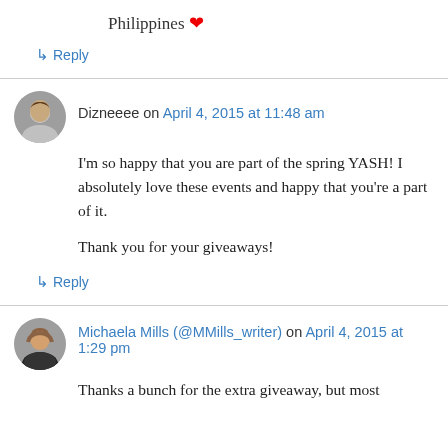Philippines ❤
↳ Reply
Dizneeee on April 4, 2015 at 11:48 am
I'm so happy that you are part of the spring YASH! I absolutely love these events and happy that you're a part of it.

Thank you for your giveaways!
↳ Reply
Michaela Mills (@MMills_writer) on April 4, 2015 at 1:29 pm
Thanks a bunch for the extra giveaway, but most